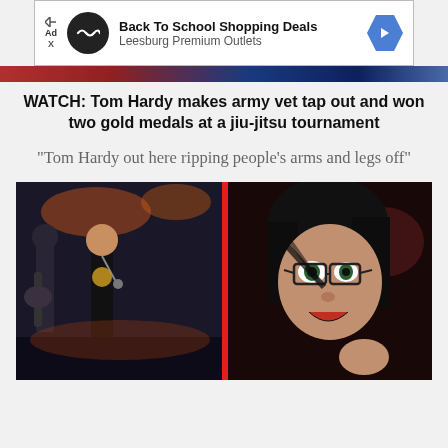[Figure (other): Advertisement banner: Back To School Shopping Deals - Leesburg Premium Outlets]
[Figure (photo): Colored bar image strip at top of article]
WATCH: Tom Hardy makes army vet tap out and won two gold medals at a jiu-jitsu tournament
"Tom Hardy out here ripping people's arms and legs off"
[Figure (photo): Split image: left side shows musicians performing on stage (band with guitarist and singer), right side shows a person with dark hair and glasses looking intensely at camera, separated by a red vertical stripe]